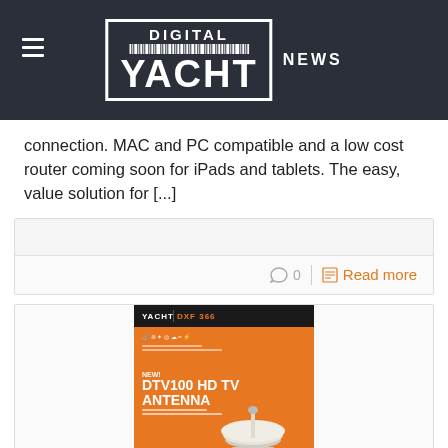DIGITAL YACHT NEWS
connection.  MAC and PC compatible and a low cost router coming soon for iPads and tablets.  The easy, value solution for [...]
0  Read more
[Figure (illustration): Digital Yacht product advertisement card showing DTV100 HD TV Antenna with orange background and Digital Update August 2015 footer]